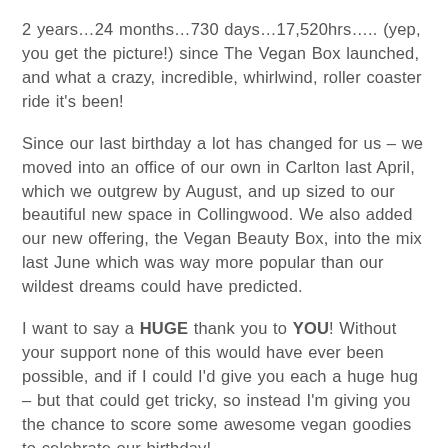2 years…24 months…730 days…17,520hrs….. (yep, you get the picture!) since The Vegan Box launched, and what a crazy, incredible, whirlwind, roller coaster ride it's been!
Since our last birthday a lot has changed for us – we moved into an office of our own in Carlton last April, which we outgrew by August, and up sized to our beautiful new space in Collingwood. We also added our new offering, the Vegan Beauty Box, into the mix last June which was way more popular than our wildest dreams could have predicted.
I want to say a HUGE thank you to YOU! Without your support none of this would have ever been possible, and if I could I'd give you each a huge hug – but that could get tricky, so instead I'm giving you the chance to score some awesome vegan goodies to celebrate our birthday!
So here's what you need to do to be in with a...